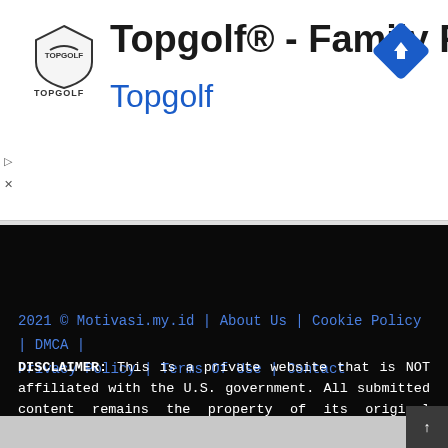[Figure (screenshot): Advertisement banner for Topgolf with logo, title 'Topgolf® - Family Fun', subtitle 'Topgolf' in blue, and a blue navigation diamond icon on the right.]
2021 © Motivasi.my.id | About Us | Cookie Policy | DMCA | Privacy Policy | Terms Of Use | Contact
DISCLAIMER: This is a private website that is NOT affiliated with the U.S. government. All submitted content remains the property of its original copyright holder. The images are for personal and non-commercial use. If you are the copyright owner of content which appears on our website and you did not authorize the use of the content, you must notify us by contacting us to identify the allegedly infringing content and take action.